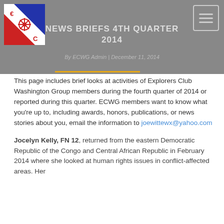NEWS BRIEFS 4TH QUARTER 2014
By ECWG Admin | December 11, 2014
This page includes brief looks at activities of Explorers Club Washington Group members during the fourth quarter of 2014 or reported during this quarter. ECWG members want to know what you're up to, including awards, honors, publications, or news stories about you, email the information to joewittewx@yahoo.com
Jocelyn Kelly, FN 12, returned from the eastern Democratic Republic of the Congo and Central African Republic in February 2014 where she looked at human rights issues in conflict-affected areas. Her